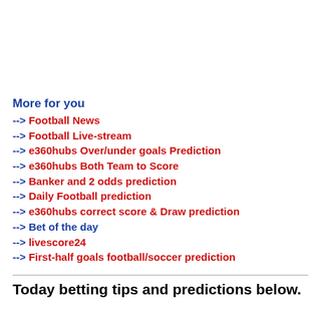More for you
--> Football News
--> Football Live-stream
--> e360hubs Over/under goals Prediction
--> e360hubs Both Team to Score
--> Banker and 2 odds prediction
--> Daily Football prediction
--> e360hubs correct score & Draw prediction
--> Bet of the day
--> livescore24
--> First-half goals football/soccer prediction
Today betting tips and predictions below.